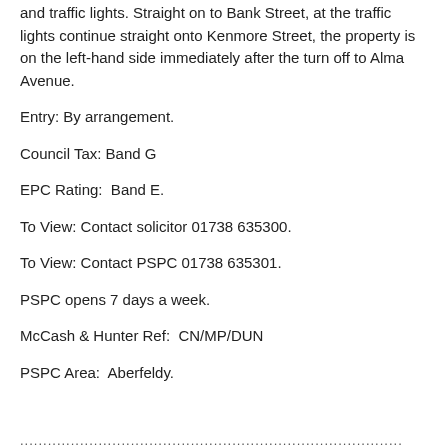and traffic lights. Straight on to Bank Street, at the traffic lights continue straight onto Kenmore Street, the property is on the left-hand side immediately after the turn off to Alma Avenue.
Entry: By arrangement.
Council Tax: Band G
EPC Rating:  Band E.
To View: Contact solicitor 01738 635300.
To View: Contact PSPC 01738 635301.
PSPC opens 7 days a week.
McCash & Hunter Ref:  CN/MP/DUN
PSPC Area:  Aberfeldy.
......................................................................................